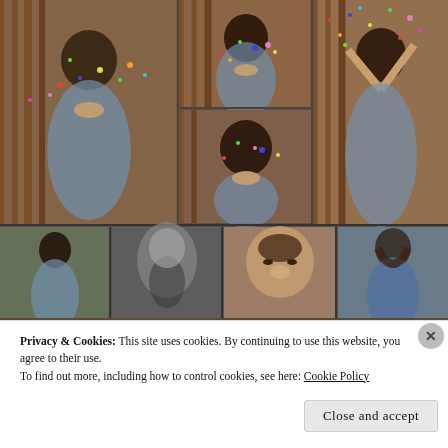[Figure (photo): Collage of photos of a young woman in a gingham romper and black wide-brim hat, blowing confetti, against a rustic red barn/fence background. Multiple poses arranged in a grid: large photo on left of woman blowing confetti, top-center woman blowing confetti, top-right woman standing with arms raised with confetti, bottom-center close-up blowing confetti. Second row shows four thumbnails: full-body shot, black-and-white artistic shot, close-up portrait of brunette woman, back-view in navy romper.]
Privacy & Cookies: This site uses cookies. By continuing to use this website, you agree to their use.
To find out more, including how to control cookies, see here: Cookie Policy
Close and accept